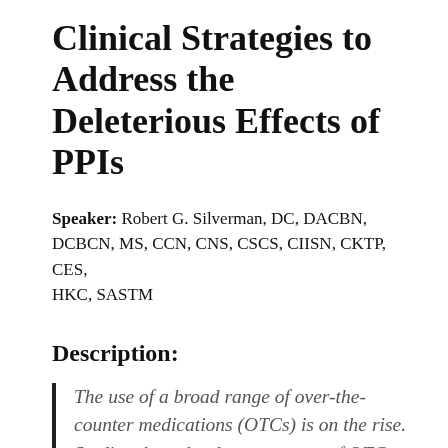Clinical Strategies to Address the Deleterious Effects of PPIs
Speaker: Robert G. Silverman, DC, DACBN, DCBCN, MS, CCN, CNS, CSCS, CIISN, CKTP, CES, HKC, SASTM
Description:
The use of a broad range of over-the-counter medications (OTCs) is on the rise. Studies show that long-term use of OTCs can cause a host of clinical